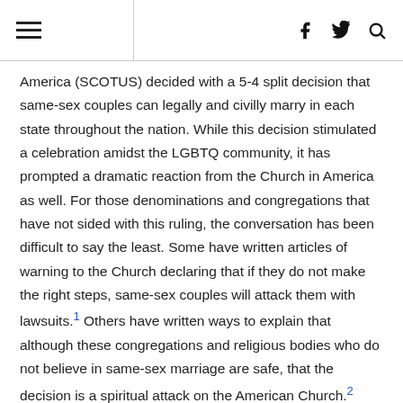≡  f  𝕏  🔍
America (SCOTUS) decided with a 5-4 split decision that same-sex couples can legally and civilly marry in each state throughout the nation. While this decision stimulated a celebration amidst the LGBTQ community, it has prompted a dramatic reaction from the Church in America as well. For those denominations and congregations that have not sided with this ruling, the conversation has been difficult to say the least. Some have written articles of warning to the Church declaring that if they do not make the right steps, same-sex couples will attack them with lawsuits.1 Others have written ways to explain that although these congregations and religious bodies who do not believe in same-sex marriage are safe, that the decision is a spiritual attack on the American Church.2
With all of this stated the foundation of the conversation seems to be faulty and missing key factors that can aid to